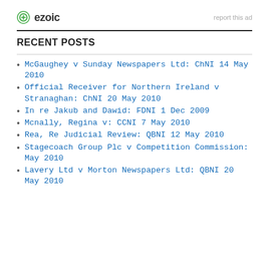[Figure (logo): Ezoic logo with circular green icon and bold text 'ezoic', with 'report this ad' text to the right]
RECENT POSTS
McGaughey v Sunday Newspapers Ltd: ChNI 14 May 2010
Official Receiver for Northern Ireland v Stranaghan: ChNI 20 May 2010
In re Jakub and Dawid: FDNI 1 Dec 2009
Mcnally, Regina v: CCNI 7 May 2010
Rea, Re Judicial Review: QBNI 12 May 2010
Stagecoach Group Plc v Competition Commission: May 2010
Lavery Ltd v Morton Newspapers Ltd: QBNI 20 May 2010